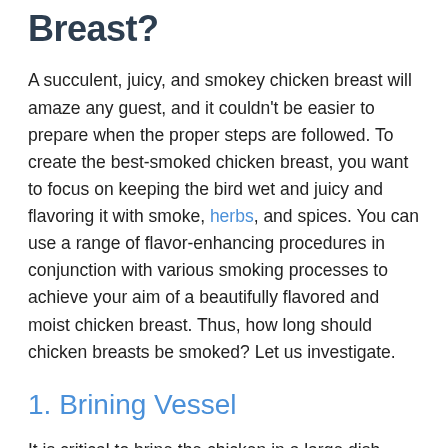Breast?
A succulent, juicy, and smokey chicken breast will amaze any guest, and it couldn't be easier to prepare when the proper steps are followed. To create the best-smoked chicken breast, you want to focus on keeping the bird wet and juicy and flavoring it with smoke, herbs, and spices. You can use a range of flavor-enhancing procedures in conjunction with various smoking processes to achieve your aim of a beautifully flavored and moist chicken breast. Thus, how long should chicken breasts be smoked? Let us investigate.
1. Brining Vessel
It is critical to brine the chicken in a large dish, container, or bucket. You want to ensure that the